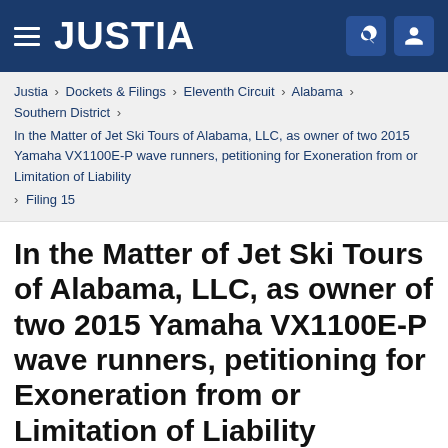JUSTIA
Justia › Dockets & Filings › Eleventh Circuit › Alabama › Southern District › In the Matter of Jet Ski Tours of Alabama, LLC, as owner of two 2015 Yamaha VX1100E-P wave runners, petitioning for Exoneration from or Limitation of Liability › Filing 15
In the Matter of Jet Ski Tours of Alabama, LLC, as owner of two 2015 Yamaha VX1100E-P wave runners, petitioning for Exoneration from or Limitation of Liability
Filing 15